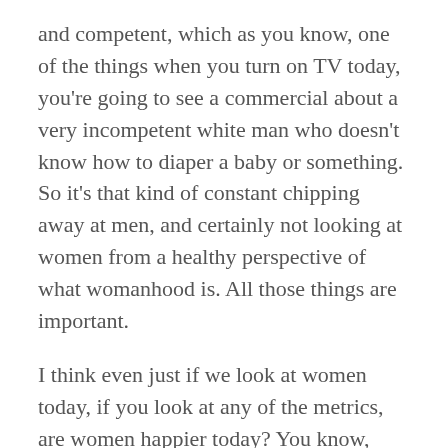and competent, which as you know, one of the things when you turn on TV today, you're going to see a commercial about a very incompetent white man who doesn't know how to diaper a baby or something. So it's that kind of constant chipping away at men, and certainly not looking at women from a healthy perspective of what womanhood is. All those things are important.

I think even just if we look at women today, if you look at any of the metrics, are women happier today? You know, we're told that we should be because we've instituted all of these elements of radical feminism. And yet the data just shows a completely different picture. You've got an increase in suicide, increase and drug abuse, STDs, substance abuse, all the kinds of things, are pointing t...